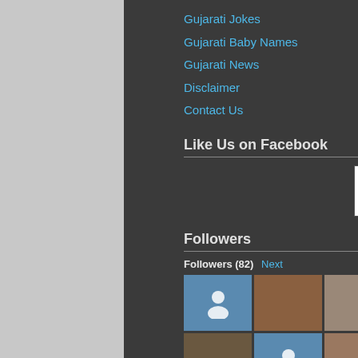Gujarati Jokes
Gujarati Baby Names
Gujarati News
Disclaimer
Contact Us
Like Us on Facebook
[Figure (logo): Protected by Copyscape Do Not Copy badge]
Followers
Followers (82) Next
[Figure (photo): Grid of follower profile photos and avatars, 3 rows of 7]